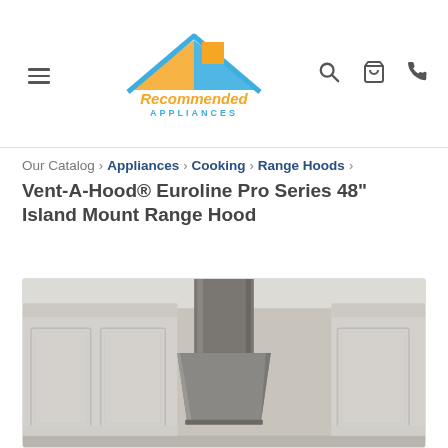[Figure (logo): Recommended Appliances logo with house roofline graphic in blue and orange, company name in orange text]
Our Catalog › Appliances › Cooking › Range Hoods ›
Vent-A-Hood® Euroline Pro Series 48" Island Mount Range Hood
[Figure (photo): Photo of a stainless steel island mount range hood installed in a kitchen with white cabinetry and wainscoting walls]